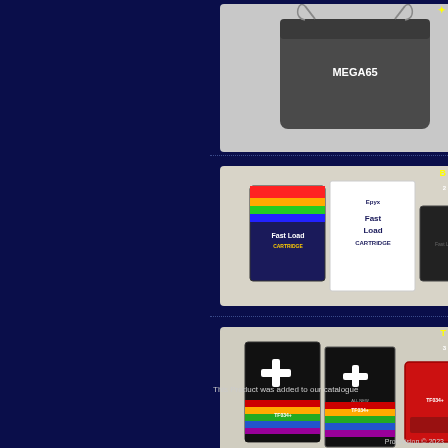[Figure (photo): Dark grey drawstring bag with MEGA65 logo]
[Figure (photo): Epyx Fast Load Cartridge product with box, manual and cartridge]
[Figure (photo): TF034+ cartridge product with box, manual and red cartridge]
This Product was added to our catalogue
Protovision © 2023